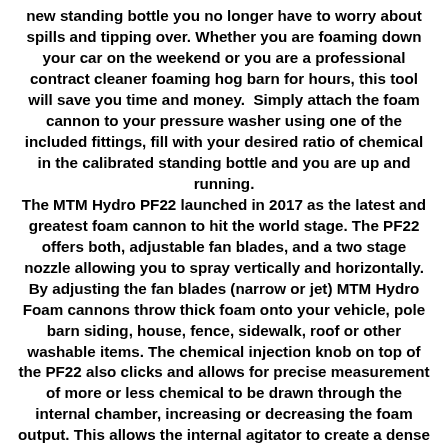new standing bottle you no longer have to worry about spills and tipping over. Whether you are foaming down your car on the weekend or you are a professional contract cleaner foaming hog barn for hours, this tool will save you time and money.  Simply attach the foam cannon to your pressure washer using one of the included fittings, fill with your desired ratio of chemical in the calibrated standing bottle and you are up and running. The MTM Hydro PF22 launched in 2017 as the latest and greatest foam cannon to hit the world stage. The PF22 offers both, adjustable fan blades, and a two stage nozzle allowing you to spray vertically and horizontally. By adjusting the fan blades (narrow or jet) MTM Hydro Foam cannons throw thick foam onto your vehicle, pole barn siding, house, fence, sidewalk, roof or other washable items. The chemical injection knob on top of the PF22 also clicks and allows for precise measurement of more or less chemical to be drawn through the internal chamber, increasing or decreasing the foam output. This allows the internal agitator to create a dense foam that is stickier than the Chinese knock-off foam cannons. In doing so, this thick foam has a longer dwell time which allows the chemical to work on the